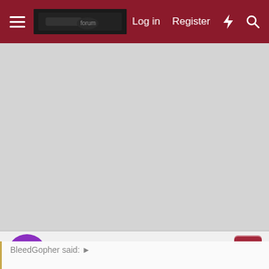Log in  Register
[Figure (other): Large gray advertisement/placeholder area]
From the Parkinglot
Well-known member
Sep 15, 2021
#1,159
BleedGopher said: